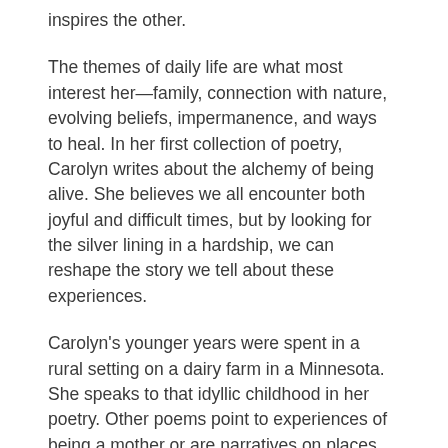inspires the other.
The themes of daily life are what most interest her—family, connection with nature, evolving beliefs, impermanence, and ways to heal. In her first collection of poetry, Carolyn writes about the alchemy of being alive. She believes we all encounter both joyful and difficult times, but by looking for the silver lining in a hardship, we can reshape the story we tell about these experiences.
Carolyn's younger years were spent in a rural setting on a dairy farm in a Minnesota. She speaks to that idyllic childhood in her poetry. Other poems point to experiences of being a mother or are narratives on places traveled with her